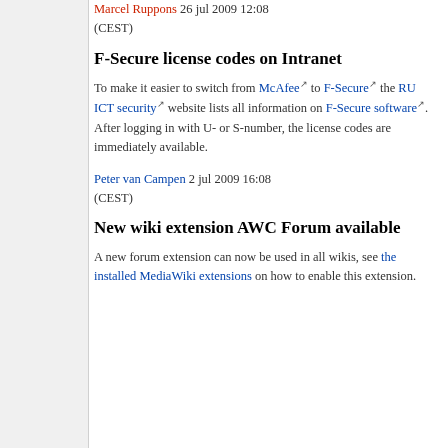Marcel Ruppons 26 jul 2009 12:08 (CEST)
F-Secure license codes on Intranet
To make it easier to switch from McAfee to F-Secure the RU ICT security website lists all information on F-Secure software. After logging in with U- or S-number, the license codes are immediately available.
Peter van Campen 2 jul 2009 16:08 (CEST)
New wiki extension AWC Forum available
A new forum extension can now be used in all wikis, see the installed MediaWiki extensions on how to enable this extension.